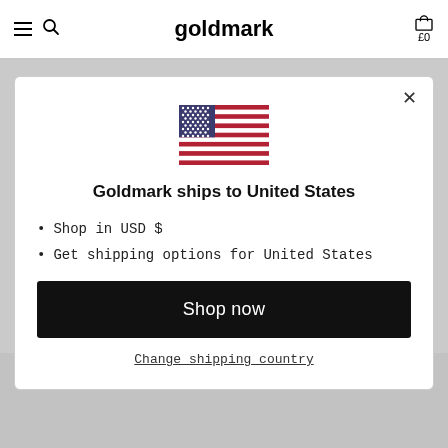goldmark  £0
[Figure (illustration): US flag illustration shown in the modal dialog]
Goldmark ships to United States
Shop in USD $
Get shipping options for United States
Shop now
Change shipping country